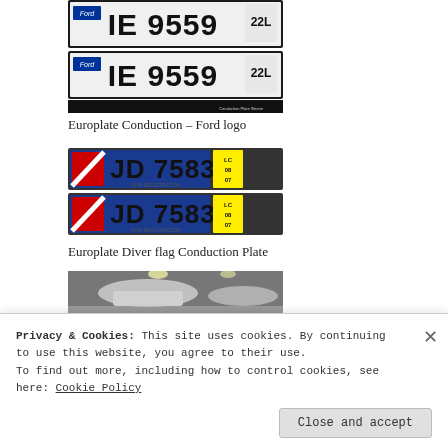[Figure (photo): Two license plates reading IE 9559 22L with Ford logo on a Europlate conduction plate, black background section below]
Europlate Conduction – Ford logo
[Figure (photo): Two license plates reading JD 7583 with diver flag and yellow LC 08 07 sticker, FOR REGISTRATION text, Europlate Diver flag Conduction Plate]
Europlate Diver flag Conduction Plate
[Figure (photo): Partial photo of silver cars in a parking garage]
Privacy & Cookies: This site uses cookies. By continuing to use this website, you agree to their use.
To find out more, including how to control cookies, see here: Cookie Policy